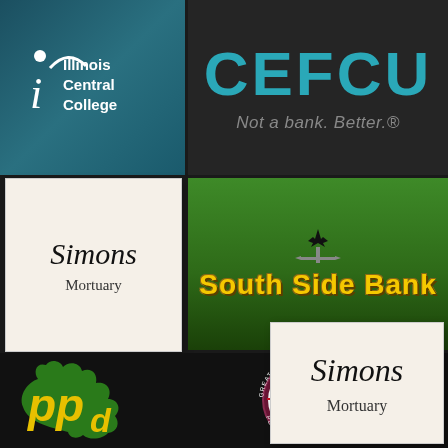[Figure (logo): Illinois Central College logo - white text on teal/dark blue background with stylized 'i' and 'c' letters]
[Figure (logo): CEFCU logo - large teal letters 'CEFCU' with tagline 'Not a bank. Better.' on dark background]
[Figure (logo): Simons Mortuary logo - italic text on cream/off-white background]
[Figure (logo): South Side Bank logo - yellow text with weathervane graphic on green gradient background]
[Figure (logo): Peoria Park District (PPD) logo - green oak leaf with yellow interlocking letters 'ppd' on black background]
[Figure (logo): CityLink / Greater Peoria Mass Transit District circular logo - maroon circle with red CityLink text, 'Established in 1970', 'Peoria, Illinois']
[Figure (logo): Simons Mortuary logo (larger) - italic text on cream/off-white background]